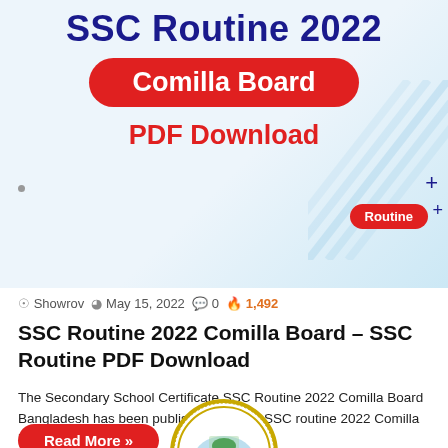[Figure (illustration): Banner image with blue diagonal lines decoration and a red oval badge saying Routine, light blue background. Top part of the page.]
SSC Routine 2022
Comilla Board
PDF Download
Showrov  May 15, 2022  0  1,492
SSC Routine 2022 Comilla Board – SSC Routine PDF Download
The Secondary School Certificate SSC Routine 2022 Comilla Board Bangladesh has been published recently.SSC routine 2022 Comilla board has been…
Read More »
[Figure (logo): Circular emblem/seal with palm tree and water imagery, institution logo at the bottom of the page.]